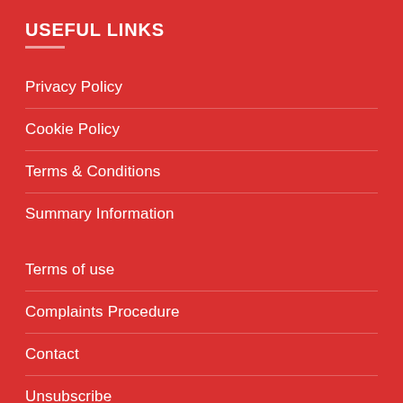USEFUL LINKS
Privacy Policy
Cookie Policy
Terms & Conditions
Summary Information
Terms of use
Complaints Procedure
Contact
Unsubscribe
Careers